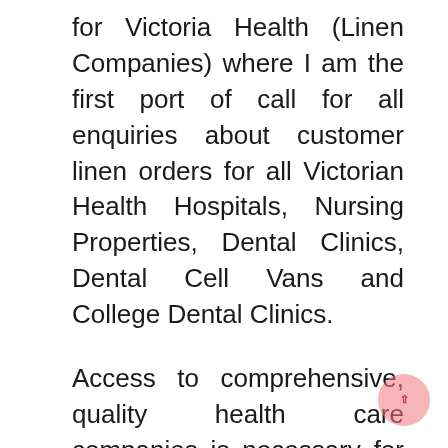for Victoria Health (Linen Companies) where I am the first port of call for all enquiries about customer linen orders for all Victorian Health Hospitals, Nursing Properties, Dental Clinics, Dental Cell Vans and College Dental Clinics.
Access to comprehensive, quality health care companies is necessary for promoting and maintaining health, preventing and managing disease, lowering unnecessary disability and premature dying, and reaching health equity for all Individuals. Nonetheless, many people are embracing ...